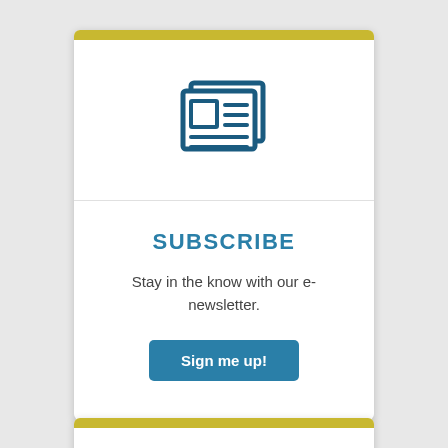[Figure (illustration): Newspaper/newsletter icon in dark blue, showing a folded newspaper with a square image placeholder and text lines on the right side]
SUBSCRIBE
Stay in the know with our e-newsletter.
Sign me up!